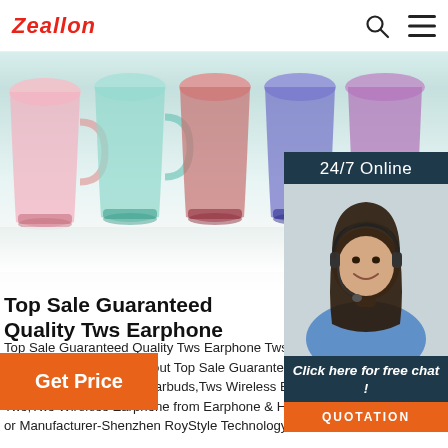Zeallon
[Figure (photo): Row of colorful glass mugs/cups (pink, green, red, blue, purple, teal) arranged in a row on a white surface, hero banner image]
[Figure (photo): 24/7 Online chat widget with a smiling woman wearing a headset, dark teal background, with 'Click here for free chat!' and orange QUOTATION button]
Top Sale Guaranteed Quality Tws Earphone
Top Sale Guaranteed Quality Tws Earphone Tws W… Find Complete Details about Top Sale Guaranteed… Earphone Tws Wireless Earbuds,Tws Wireless Ear… Tws,Tws Wireless Earphone from Earphone & Hea… or Manufacturer-Shenzhen RoyStyle Technology Co., Ltd.
Get Price